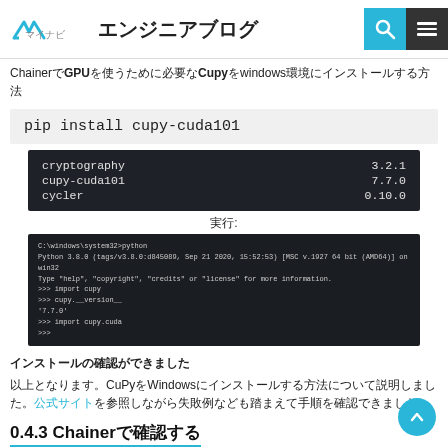マイナビ エンジニアブログ
ChainerでGPUを使うために必要なCupyをwindows環境にインストールする方法
pip install cupy-cuda101
[Figure (screenshot): Terminal output showing package list: cryptography 3.2.1, cupy-cuda101 7.7.0, cycler 0.10.0]
実行:
[Figure (screenshot): Python terminal session showing import cupy, cupy.__version__ returning '7.7.0', import cupy.cuda]
インストールの確認ができました
以上となります。CupyをWindowsにインストールする方法について説明しました。公式サイト参照しながら失敗例なども踏まえて手順を確認できました。
0.4.3 Chainerで確認する